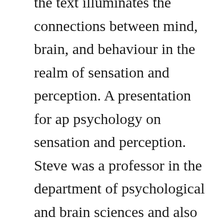the text illuminates the connections between mind, brain, and behaviour in the realm of sensation and perception. A presentation for ap psychology on sensation and perception. Steve was a professor in the department of psychological and brain sciences and also held appointments in the department of cognitive science, the zanvyl krieger mindbrain institute, and the solomon snyder department of neuroscience at. A survey of the research on human factors related to lethal. The search image as link between sensation, perception and. Sell sensation and perception,